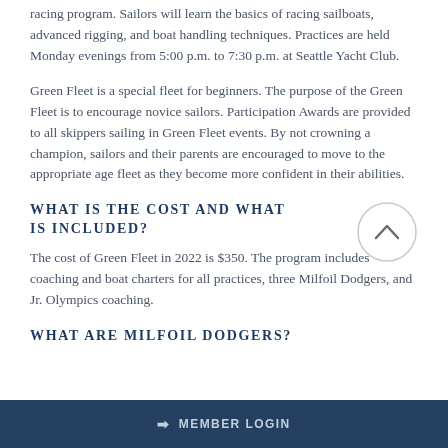racing program. Sailors will learn the basics of racing sailboats, advanced rigging, and boat handling techniques. Practices are held Monday evenings from 5:00 p.m. to 7:30 p.m. at Seattle Yacht Club.
Green Fleet is a special fleet for beginners. The purpose of the Green Fleet is to encourage novice sailors. Participation Awards are provided to all skippers sailing in Green Fleet events. By not crowning a champion, sailors and their parents are encouraged to move to the appropriate age fleet as they become more confident in their abilities.
WHAT IS THE COST AND WHAT IS INCLUDED?
The cost of Green Fleet in 2022 is $350. The program includes coaching and boat charters for all practices, three Milfoil Dodgers, and Jr. Olympics coaching.
WHAT ARE MILFOIL DODGERS?
MEMBER LOGIN